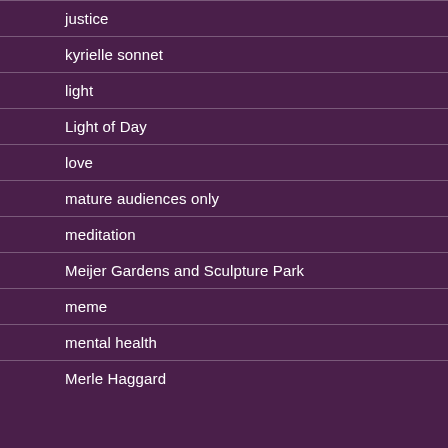justice
kyrielle sonnet
light
Light of Day
love
mature audiences only
meditation
Meijer Gardens and Sculpture Park
meme
mental health
Merle Haggard